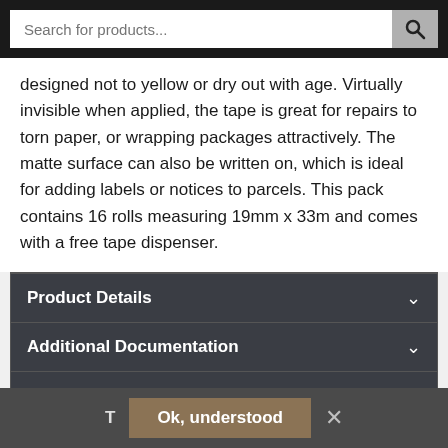Search for products...
designed not to yellow or dry out with age. Virtually invisible when applied, the tape is great for repairs to torn paper, or wrapping packages attractively. The matte surface can also be written on, which is ideal for adding labels or notices to parcels. This pack contains 16 rolls measuring 19mm x 33m and comes with a free tape dispenser.
Product Details
Additional Documentation
People who bought this also bought
People Also Bought
We are constantly al...
T
Ok, understood
✕